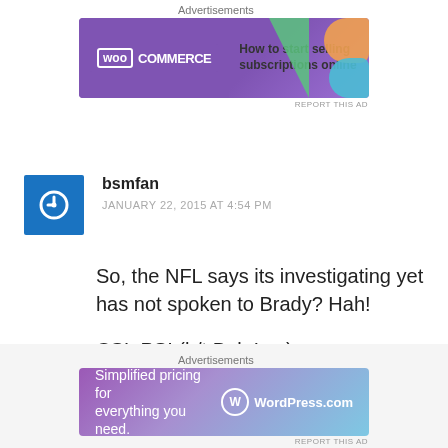[Figure (illustration): WooCommerce advertisement banner: purple background with WooCommerce logo and text 'How to start selling subscriptions online']
bsmfan
JANUARY 22, 2015 AT 4:54 PM
So, the NFL says its investigating yet has not spoken to Brady? Hah!
CSI: PSI (h/t Bob Ley)
Shocker here!
[Figure (illustration): WordPress.com advertisement: gradient purple-to-blue background with text 'Simplified pricing for everything you need.' and WordPress.com logo]